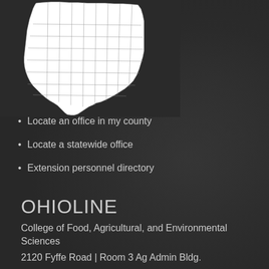[Figure (map): White outline map of Ohio showing county boundaries on dark background]
Locate an office in my county
Locate a statewide office
Extension personnel directory
OHIOLINE
College of Food, Agricultural, and Environmental Sciences
2120 Fyffe Road | Room 3 Ag Admin Bldg.